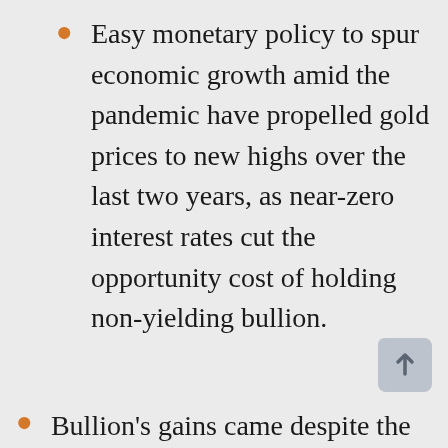Easy monetary policy to spur economic growth amid the pandemic have propelled gold prices to new highs over the last two years, as near-zero interest rates cut the opportunity cost of holding non-yielding bullion.
Bullion's gains came despite the dollar holding